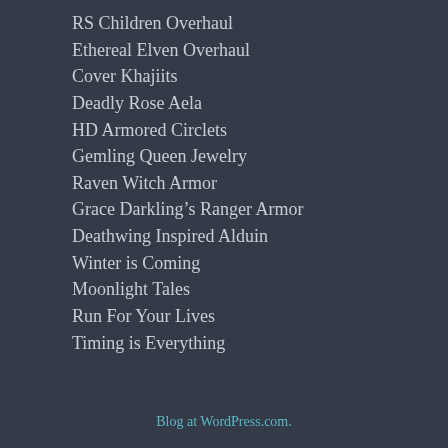RS Children Overhaul
Ethereal Elven Overhaul
Cover Khajiits
Deadly Rose Aela
HD Armored Circlets
Gemling Queen Jewelry
Raven Witch Armor
Grace Darkling’s Ranger Armor
Deathwing Inspired Alduin
Winter is Coming
Moonlight Tales
Run For Your Lives
Timing is Everything
Blog at WordPress.com.